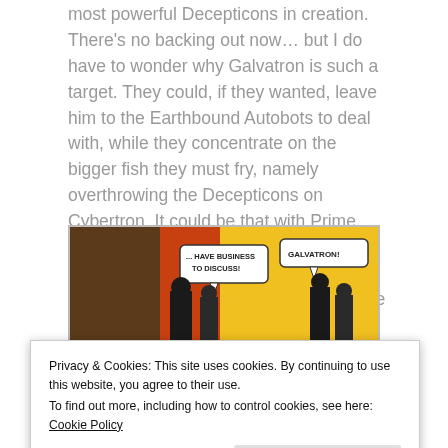most powerful Decepticons in creation. There's no backing out now… but I do have to wonder why Galvatron is such a target. They could, if they wanted, leave him to the Earthbound Autobots to deal with, while they concentrate on the bigger fish they must fry, namely overthrowing the Decepticons on Cybertron. It could be that with Prime now dead and his successor Grimlock having abandoned the Earth, Xaaron and Springer feel and obligation to fill the void.
[Figure (illustration): Comic panel showing two speech bubbles: '... HAVE BUSINESS TO DISCUSS!' on the left and 'GALVATRON!' on the right, with robot silhouettes against a yellow background.]
Privacy & Cookies: This site uses cookies. By continuing to use this website, you agree to their use.
To find out more, including how to control cookies, see here: Cookie Policy
Close and accept
[Figure (illustration): Bottom portion of a comic panel with colorful robot/character imagery.]